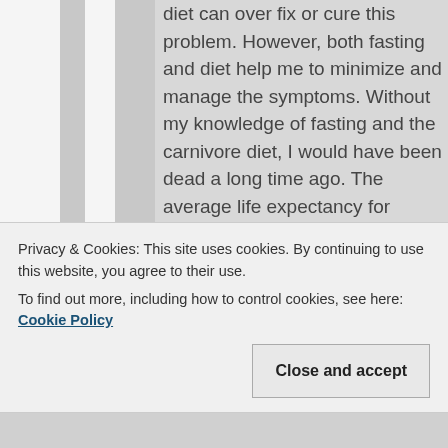diet can over fix or cure this problem. However, both fasting and diet help me to minimize and manage the symptoms. Without my knowledge of fasting and the carnivore diet, I would have been dead a long time ago. The average life expectancy for someone with CIPO
Privacy & Cookies: This site uses cookies. By continuing to use this website, you agree to their use.
To find out more, including how to control cookies, see here: Cookie Policy
Close and accept